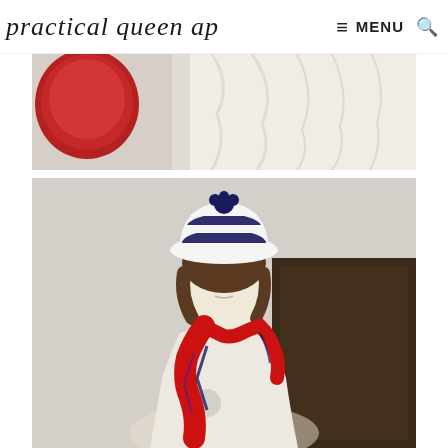practical queen ap  MENU 🔍
[Figure (photo): Partial view of a mannequin display showing a red round bag on left and white draped fabric/dress on right, against a neutral background]
[Figure (photo): Mannequin wearing a navy and white striped crochet cloche hat with a navy floral accent, a cream sleeveless coat with a circular cutout detail, and a red scarf with navy and purple print tied around the neck, displayed against a beige wall with dark wood cabinet in background]